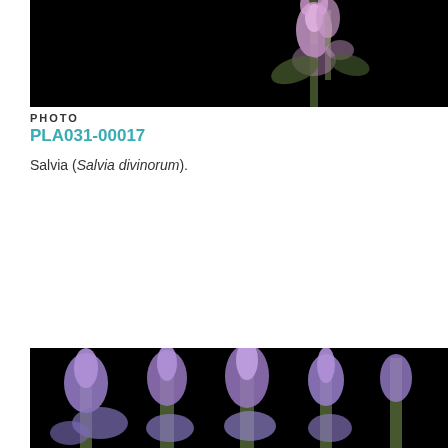[Figure (photo): Close-up photo of Salvia divinorum flower against black background, showing pink/purple tubular flower]
PHOTO
PLA031-00017
Salvia (Salvia divinorum).
[Figure (photo): Photo of multiple spike-like purple/lavender flower clusters against a black background]